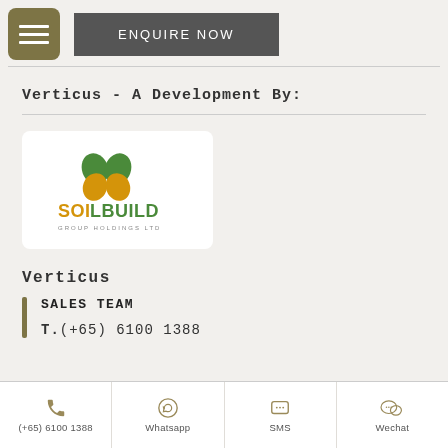ENQUIRE NOW
Verticus - A Development By:
[Figure (logo): Soilbuild Group Holdings Ltd logo — green and gold/orange leaf icons above the text SOILBUILD in large letters with GROUP HOLDINGS LTD below in small caps]
Verticus
SALES TEAM
T.(+65) 6100 1388
(+65) 6100 1388  Whatsapp  SMS  Wechat